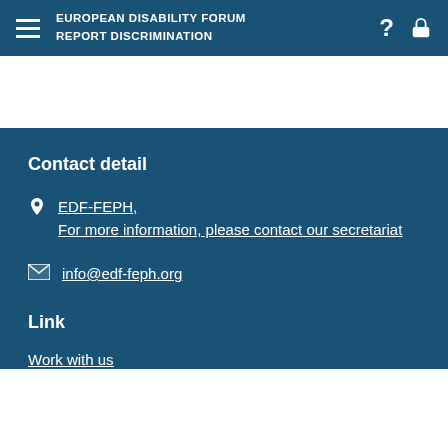EUROPEAN DISABILITY FORUM
REPORT DISCRIMINATION
Contact detail
EDF-FEPH,
For more information, please contact our secretariat
info@edf-feph.org
Link
Work with us